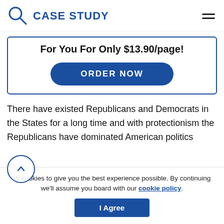CASE STUDY
For You For Only $13.90/page!
ORDER NOW
There have existed Republicans and Democrats in the States for a long time and with protectionism the Republicans have dominated American politics
We cookies to give you the best experience possible. By continuing we'll assume you board with our cookie policy.
I Agree